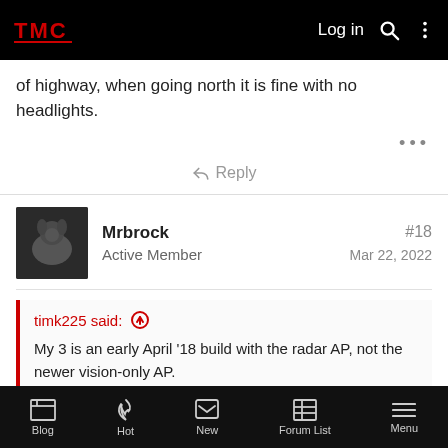TMC forum header with Log in, search, and menu icons
of highway, when going north it is fine with no headlights.
• • •
↩ Reply
Mrbrock
Active Member
#18
Mar 22, 2022
timk225 said: ↑

My 3 is an early April '18 build with the radar AP, not the newer vision-only AP.

We had a very overcast cloudy day this morning on my way home at 8am, so no real glare from the sun or anything. Yet
Blog | Hot | New | Forum List | Menu